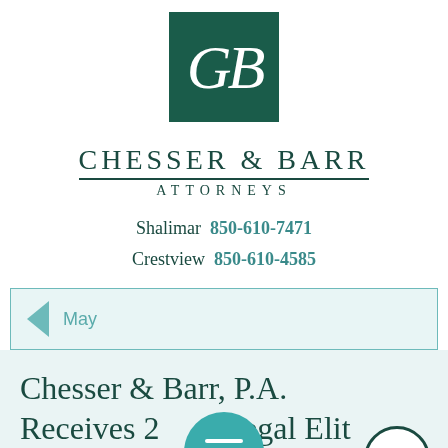[Figure (logo): Chesser & Barr law firm logo: dark green square with stylized white italic CB monogram letters]
CHESSER & BARR
ATTORNEYS
Shalimar  850-610-7471
Crestview  850-610-4585
< May
Chesser & Barr, P.A. Receives 2 Legal Elit A d